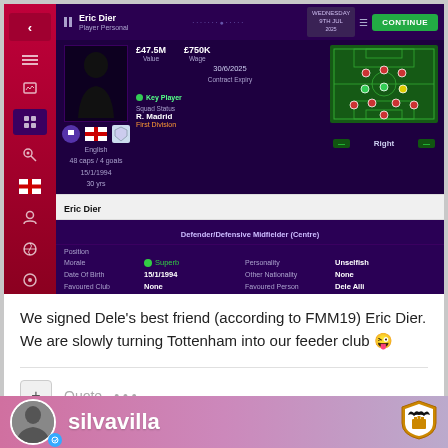[Figure (screenshot): Football Manager Mobile 19 player profile screen for Eric Dier. Shows stats: Value £47.5M, Wage £750K, Contract Expiry 30/6/2025, Squad Status Key Player, Club R. Madrid, First Division. Attributes: Position Defender/Defensive Midfielder (Centre), Morale Superb, Personality Unselfish, Date Of Birth 15/1/1994, Other Nationality None, Favoured Club None, Favoured Person Dele Alli. Happiness: Happy to stay at club. Navigation options: Transfer Status, Offer Contract, Actions.]
We signed Dele's best friend (according to FMM19) Eric Dier. We are slowly turning Tottenham into our feeder club 😜
silvavilla